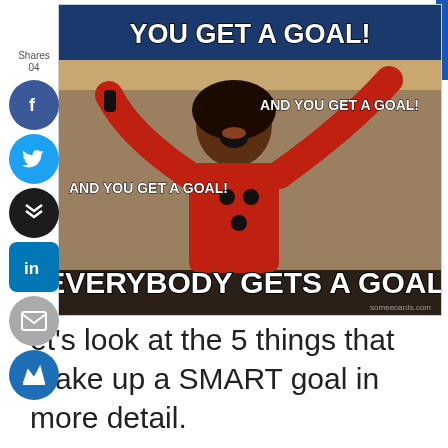[Figure (illustration): Oprah Winfrey meme with arms raised, text reading: YOU GET A GOAL! AND YOU GET A GOAL! AND YOU GET A GOAL! EVERYBODY GETS A GOAL!]
Let's look at the 5 things that make up a SMART goal in more detail.